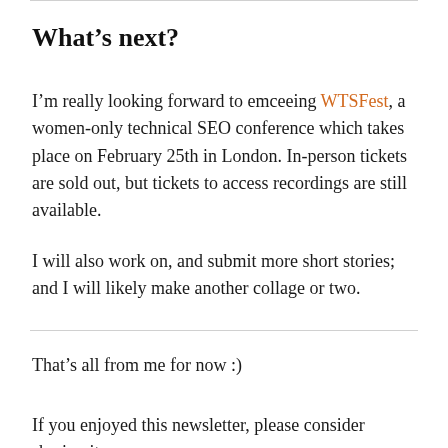What’s next?
I’m really looking forward to emceeing WTSFest, a women-only technical SEO conference which takes place on February 25th in London. In-person tickets are sold out, but tickets to access recordings are still available.
I will also work on, and submit more short stories; and I will likely make another collage or two.
That’s all from me for now :)
If you enjoyed this newsletter, please consider sharing it